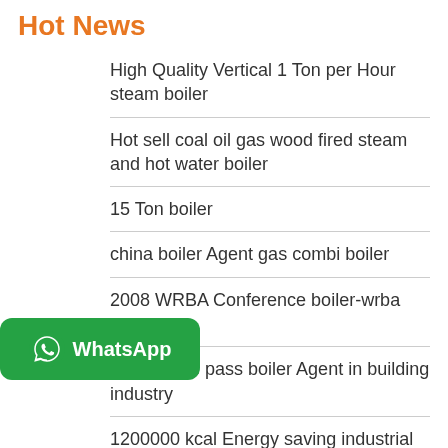Hot News
High Quality Vertical 1 Ton per Hour steam boiler
Hot sell coal oil gas wood fired steam and hot water boiler
15 Ton boiler
china boiler Agent gas combi boiler
2008 WRBA Conference boiler-wrba org
24mv three pass boiler Agent in building industry
1200000 kcal Energy saving industrial hot water boiler
[Figure (logo): WhatsApp button overlay with green background, phone icon, and bold white 'WhatsApp' text]